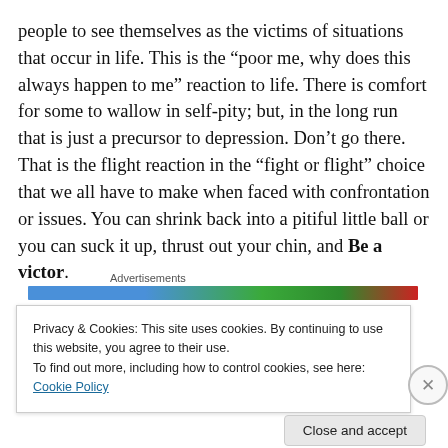people to see themselves as the victims of situations that occur in life. This is the “poor me, why does this always happen to me” reaction to life. There is comfort for some to wallow in self-pity; but, in the long run that is just a precursor to depression. Don’t go there. That is the flight reaction in the “fight or flight” choice that we all have to make when faced with confrontation or issues. You can shrink back into a pitiful little ball or you can suck it up, thrust out your chin, and Be a victor.
Advertisements
Privacy & Cookies: This site uses cookies. By continuing to use this website, you agree to their use.
To find out more, including how to control cookies, see here: Cookie Policy